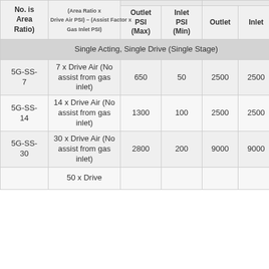| No. is Area Ratio) | formula | Outlet PSI (Max) | Inlet PSI (Min) | Outlet | Inlet | C |
| --- | --- | --- | --- | --- | --- | --- |
| Single Acting, Single Drive (Single Stage) |  |  |  |  |  |  |
| 5G-SS-7 | 7 x Drive Air (No assist from gas inlet) | 650 | 50 | 2500 | 2500 | 1 |
| 5G-SS-14 | 14 x Drive Air (No assist from gas inlet) | 1300 | 100 | 2500 | 2500 | 1 |
| 5G-SS-30 | 30 x Drive Air (No assist from gas inlet) | 2800 | 200 | 9000 | 9000 |  |
|  | 50 x Drive... |  |  |  |  |  |